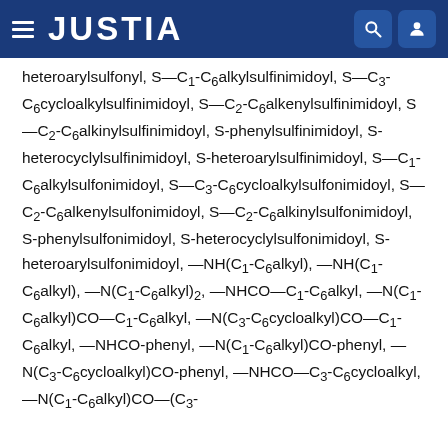JUSTIA
heteroarylsulfonyl, S—C1-C6alkylsulfinimidoyl, S—C3-C6cycloalkylsulfinimidoyl, S—C2-C6alkenylsulfinimidoyl, S—C2-C6alkinylsulfinimidoyl, S-phenylsulfinimidoyl, S-heterocyclylsulfinimidoyl, S-heteroarylsulfinimidoyl, S—C1-C6alkylsulfonimidoyl, S—C3-C6cycloalkylsulfonimidoyl, S—C2-C6alkenylsulfonimidoyl, S—C2-C6alkinylsulfonimidoyl, S-phenylsulfonimidoyl, S-heterocyclylsulfonimidoyl, S-heteroarylsulfonimidoyl, —NH(C1-C6alkyl), —NH(C1-C6alkyl), —N(C1-C6alkyl)2, —NHCO—C1-C6alkyl, —N(C1-C6alkyl)CO—C1-C6alkyl, —N(C3-C6cycloalkyl)CO—C1-C6alkyl, —NHCO-phenyl, —N(C1-C6alkyl)CO-phenyl, —N(C3-C6cycloalkyl)CO-phenyl, —NHCO—C3-C6cycloalkyl, —N(C1-C6alkyl)CO—(C3-